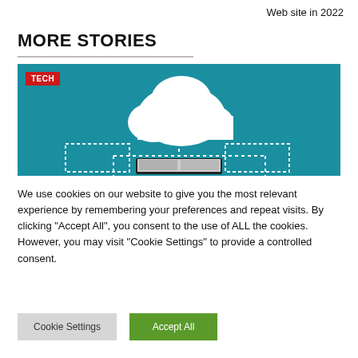Web site in 2022
MORE STORIES
[Figure (illustration): Teal/blue background illustration showing a white cloud icon connected by white dashed lines to a laptop/screen below, representing cloud computing or cloud storage concept. A red 'TECH' badge is in the top-left corner.]
We use cookies on our website to give you the most relevant experience by remembering your preferences and repeat visits. By clicking "Accept All", you consent to the use of ALL the cookies. However, you may visit "Cookie Settings" to provide a controlled consent.
Cookie Settings   Accept All